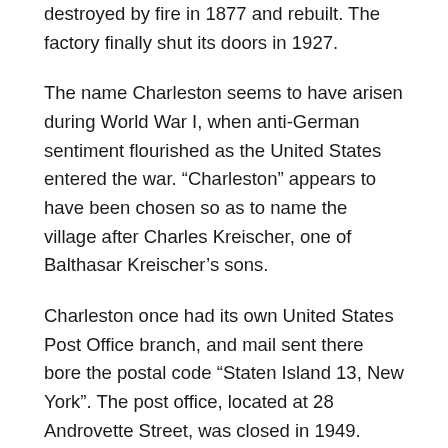destroyed by fire in 1877 and rebuilt. The factory finally shut its doors in 1927.
The name Charleston seems to have arisen during World War I, when anti-German sentiment flourished as the United States entered the war. “Charleston” appears to have been chosen so as to name the village after Charles Kreischer, one of Balthasar Kreischer’s sons.
Charleston once had its own United States Post Office branch, and mail sent there bore the postal code “Staten Island 13, New York”. The post office, located at 28 Androvette Street, was closed in 1949. While neighborhoods on Staten Island do not have universally agreed-upon boundaries, most observers today reckon Charleston as consisting of a triangle-shaped territory enclosed by Bloomingdale Road, the Richmond Parkway